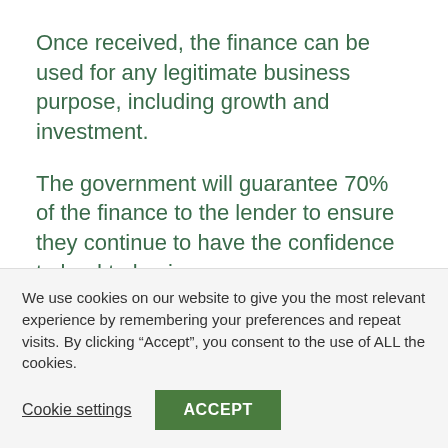Once received, the finance can be used for any legitimate business purpose, including growth and investment.
The government will guarantee 70% of the finance to the lender to ensure they continue to have the confidence to lend to businesses.
The scheme launches on 6 April and is open until June 2022, subject to review. Loans will be
We use cookies on our website to give you the most relevant experience by remembering your preferences and repeat visits. By clicking “Accept”, you consent to the use of ALL the cookies.
Cookie settings
ACCEPT